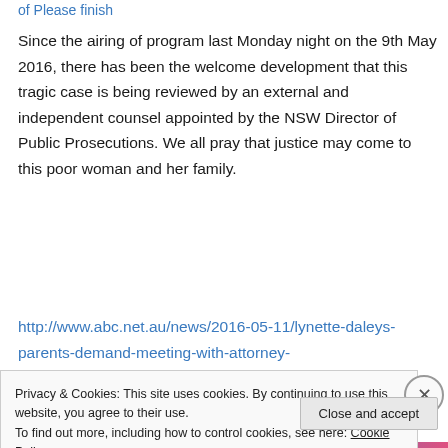of Please finish
Since the airing of program last Monday night on the 9th May 2016, there has been the welcome development that this tragic case is being reviewed by an external and independent counsel appointed by the NSW Director of Public Prosecutions. We all pray that justice may come to this poor woman and her family.
http://www.abc.net.au/news/2016-05-11/lynette-daleys-parents-demand-meeting-with-attorney-
Privacy & Cookies: This site uses cookies. By continuing to use this website, you agree to their use.
To find out more, including how to control cookies, see here: Cookie Policy
Close and accept